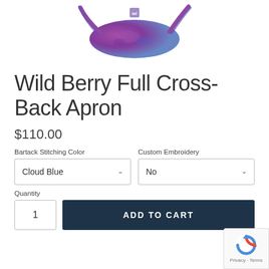[Figure (photo): Wild Berry Full Cross-Back Apron product photo showing a purple/blue tie-dye folded apron with straps, viewed from above on a white background]
Wild Berry Full Cross-Back Apron
$110.00
Bartack Stitching Color
Cloud Blue
Custom Embroidery
No
Quantity
1
ADD TO CART